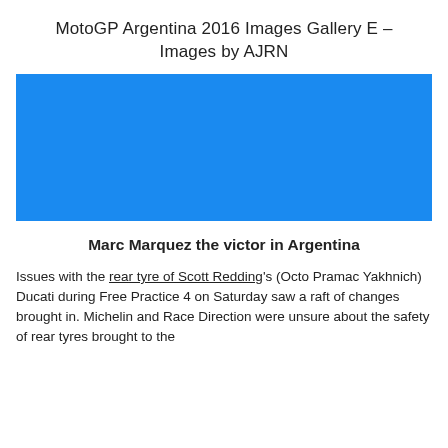MotoGP Argentina 2016 Images Gallery E – Images by AJRN
[Figure (photo): A blue rectangular placeholder image representing a MotoGP Argentina 2016 photo from the gallery.]
Marc Marquez the victor in Argentina
Issues with the rear tyre of Scott Redding's (Octo Pramac Yakhnich) Ducati during Free Practice 4 on Saturday saw a raft of changes brought in. Michelin and Race Direction were unsure about the safety of rear tyres brought to the